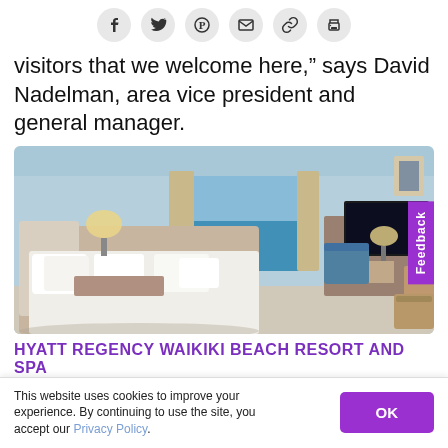[Figure (infographic): Social sharing icon bar with Facebook, Twitter, Pinterest, email, link, and print icons as circles]
visitors that we welcome here,” says David Nadelman, area vice president and general manager.
[Figure (photo): Hotel room photo showing a luxury beach resort room with white bed, ocean view window, blue walls, TV, and desk area. Feedback tab visible on right side.]
HYATT REGENCY WAIKIKI BEACH RESORT AND SPA
This website uses cookies to improve your experience. By continuing to use the site, you accept our Privacy Policy.